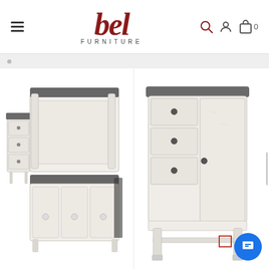[Figure (logo): Bel Furniture logo with hamburger menu and navigation icons (search, account, cart with 0 items)]
[Figure (photo): White and grey distressed wood bedroom set featuring a bed frame with storage drawers and a nightstand with three drawers]
[Figure (photo): White and grey distressed wood cabinet/armoire with three drawers on the left and a door on the right, on legs with a bottom shelf]